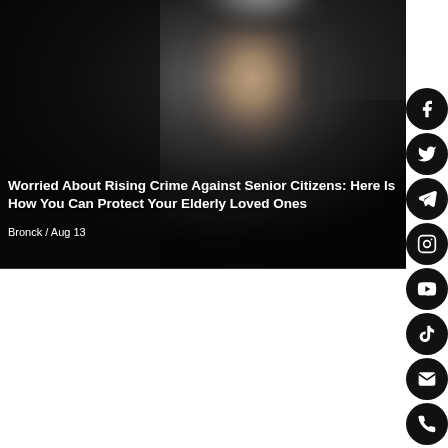[Figure (photo): Close-up portrait of an elderly man with white/grey hair looking upward, against a dark background. The image has dramatic lighting highlighting the man's aged, wrinkled face.]
Worried About Rising Crime Against Senior Citizens: Here Is How You Can Protect Your Elderly Loved Ones
Bronck / Aug 13